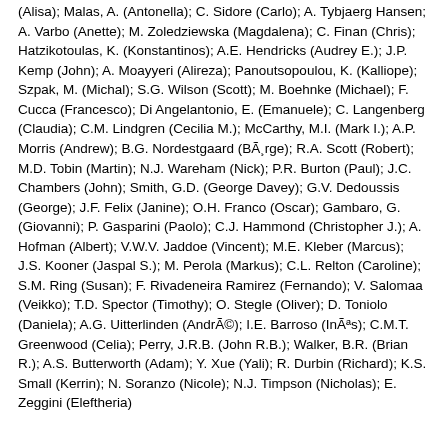(Alisa); Malas, A. (Antonella); C. Sidore (Carlo); A. Tybjaerg Hansen; A. Varbo (Anette); M. Zoledziewska (Magdalena); C. Finan (Chris); Hatzikotoulas, K. (Konstantinos); A.E. Hendricks (Audrey E.); J.P. Kemp (John); A. Moayyeri (Alireza); Panoutsopoulou, K. (Kalliope); Szpak, M. (Michal); S.G. Wilson (Scott); M. Boehnke (Michael); F. Cucca (Francesco); Di Angelantonio, E. (Emanuele); C. Langenberg (Claudia); C.M. Lindgren (Cecilia M.); McCarthy, M.I. (Mark I.); A.P. Morris (Andrew); B.G. Nordestgaard (BÃ¸rge); R.A. Scott (Robert); M.D. Tobin (Martin); N.J. Wareham (Nick); P.R. Burton (Paul); J.C. Chambers (John); Smith, G.D. (George Davey); G.V. Dedoussis (George); J.F. Felix (Janine); O.H. Franco (Oscar); Gambaro, G. (Giovanni); P. Gasparini (Paolo); C.J. Hammond (Christopher J.); A. Hofman (Albert); V.W.V. Jaddoe (Vincent); M.E. Kleber (Marcus); J.S. Kooner (Jaspal S.); M. Perola (Markus); C.L. Relton (Caroline); S.M. Ring (Susan); F. Rivadeneira Ramirez (Fernando); V. Salomaa (Veikko); T.D. Spector (Timothy); O. Stegle (Oliver); D. Toniolo (Daniela); A.G. Uitterlinden (AndrÃ©); I.E. Barroso (InÃªs); C.M.T. Greenwood (Celia); Perry, J.R.B. (John R.B.); Walker, B.R. (Brian R.); A.S. Butterworth (Adam); Y. Xue (Yali); R. Durbin (Richard); K.S. Small (Kerrin); N. Soranzo (Nicole); N.J. Timpson (Nicholas); E. Zeggini (Eleftheria)